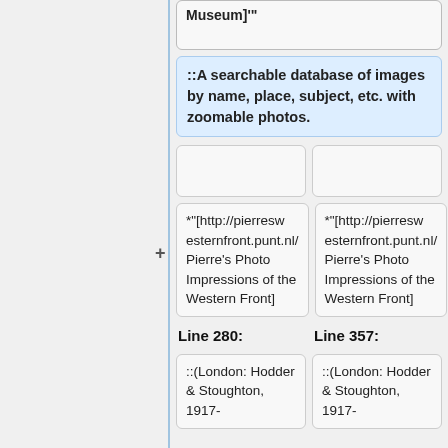Museum]'"
::A searchable database of images by name, place, subject, etc. with zoomable photos.
*"[http://pierreswesternfront.punt.nl/ Pierre's Photo Impressions of the Western Front]
*"[http://pierreswesternfront.punt.nl/ Pierre's Photo Impressions of the Western Front]
Line 280:
Line 357:
::(London: Hodder & Stoughton, 1917-
::(London: Hodder & Stoughton, 1917-